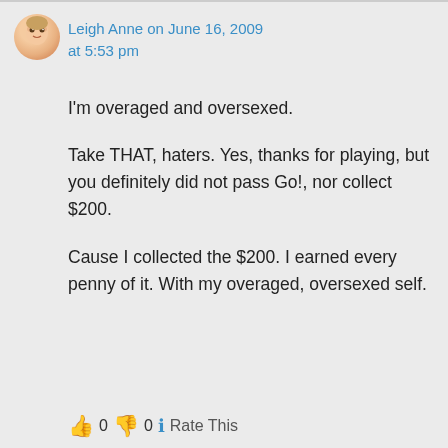Leigh Anne on June 16, 2009 at 5:53 pm
I'm overaged and oversexed.
Take THAT, haters. Yes, thanks for playing, but you definitely did not pass Go!, nor collect $200.
Cause I collected the $200. I earned every penny of it. With my overaged, oversexed self.
👍 0 👎 0 ℹ Rate This